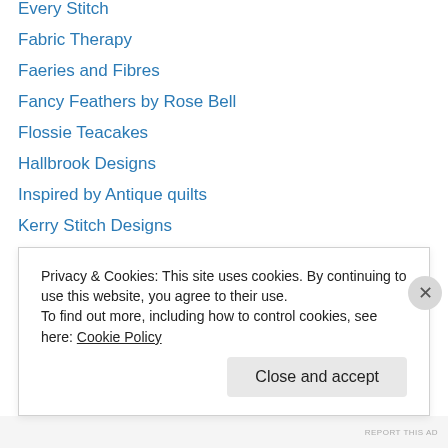Every Stitch
Fabric Therapy
Faeries and Fibres
Fancy Feathers by Rose Bell
Flossie Teacakes
Hallbrook Designs
Inspired by Antique quilts
Kerry Stitch Designs
Mrs. Sew n Sew
MT Designs
Quiltingartist
Quiltsalott
Quilty Folk
Red Door Quilts
Privacy & Cookies: This site uses cookies. By continuing to use this website, you agree to their use. To find out more, including how to control cookies, see here: Cookie Policy
Close and accept